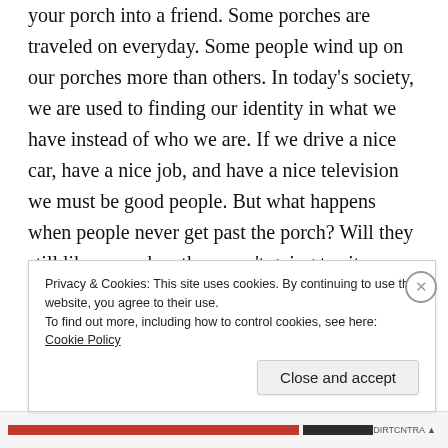your porch into a friend. Some porches are traveled on everyday. Some people wind up on our porches more than others. In today's society, we are used to finding our identity in what we have instead of who we are. If we drive a nice car, have a nice job, and have a nice television we must be good people. But what happens when people never get past the porch? Will they still like you when they aren't going to sit anywhere but the front steps? Can you offer others undivided attention, heartfelt concern, and thought provoking questions? Do you have friends that you can debate whether you are looking at a star or an airplane for 10 minutes
Privacy & Cookies: This site uses cookies. By continuing to use this website, you agree to their use.
To find out more, including how to control cookies, see here: Cookie Policy
Close and accept